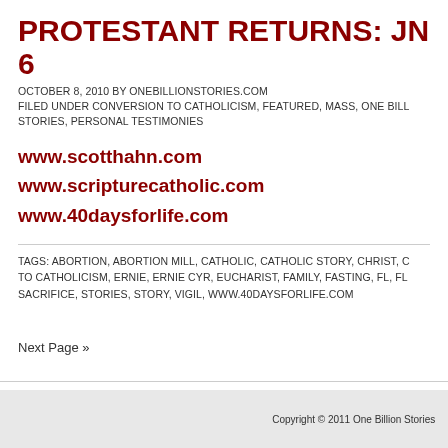PROTESTANT RETURNS: JN 6
OCTOBER 8, 2010 BY ONEBILLIONSTORIES.COM
FILED UNDER CONVERSION TO CATHOLICISM, FEATURED, MASS, ONE BILLION STORIES, PERSONAL TESTIMONIES
www.scotthahn.com
www.scripturecatholic.com
www.40daysforlife.com
TAGS: ABORTION, ABORTION MILL, CATHOLIC, CATHOLIC STORY, CHRIST, CONVERSION TO CATHOLICISM, ERNIE, ERNIE CYR, EUCHARIST, FAMILY, FASTING, FL, FL... SACRIFICE, STORIES, STORY, VIGIL, WWW.40DAYSFORLIFE.COM
Next Page »
Copyright © 2011 One Billion Stories